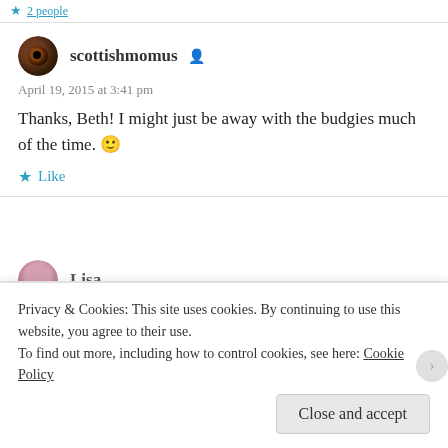Liked by 2 people
scottishmomus
April 19, 2015 at 3:41 pm
Thanks, Beth! I might just be away with the budgies much of the time. 🙂
Like
Lisa
Privacy & Cookies: This site uses cookies. By continuing to use this website, you agree to their use.
To find out more, including how to control cookies, see here: Cookie Policy
Close and accept